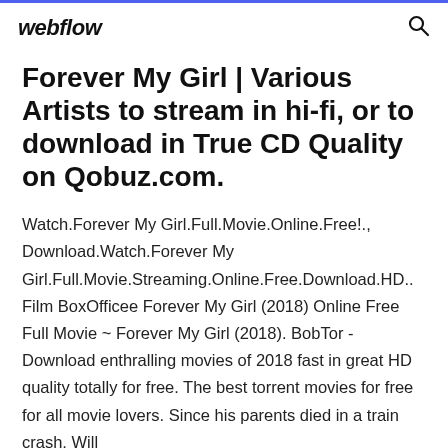webflow
Forever My Girl | Various Artists to stream in hi-fi, or to download in True CD Quality on Qobuz.com.
Watch.Forever My Girl.Full.Movie.Online.Free!., Download.Watch.Forever My Girl.Full.Movie.Streaming.Online.Free.Download.HD.. Film BoxOfficee Forever My Girl (2018) Online Free Full Movie ~ Forever My Girl (2018). BobTor - Download enthralling movies of 2018 fast in great HD quality totally for free. The best torrent movies for free for all movie lovers. Since his parents died in a train crash, Will